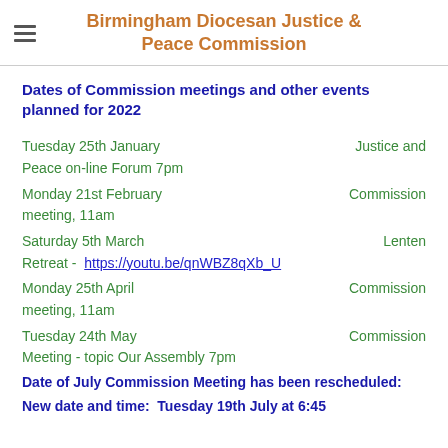Birmingham Diocesan Justice & Peace Commission
Dates of Commission meetings and other events planned for 2022
Tuesday 25th January   Justice and Peace on-line Forum 7pm
Monday 21st February   Commission meeting, 11am
Saturday 5th March   Lenten Retreat - https://youtu.be/qnWBZ8qXb_U
Monday 25th April   Commission meeting, 11am
Tuesday 24th May   Commission Meeting - topic Our Assembly 7pm
Date of July Commission Meeting has been rescheduled:
New date and time:  Tuesday 19th July at 6:45